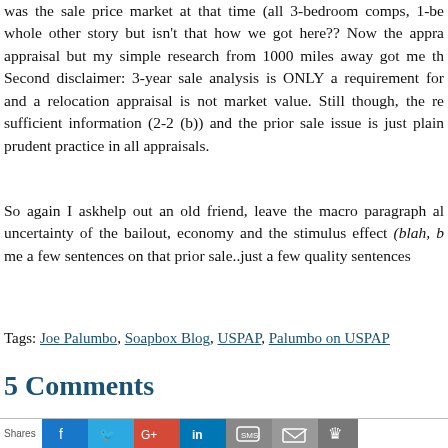was the sale price market at that time (all 3-bedroom comps, 1-be whole other story but isn't that how we got here?? Now the appra appraisal but my simple research from 1000 miles away got me th Second disclaimer: 3-year sale analysis is ONLY a requirement for and a relocation appraisal is not market value. Still though, the re sufficient information (2-2 (b)) and the prior sale issue is just plain prudent practice in all appraisals.
So again I ask help out an old friend, leave the macro paragraph al uncertainty of the bailout, economy and the stimulus effect (blah, b me a few sentences on that prior sale..just a few quality sentences
Tags: Joe Palumbo, Soapbox Blog, USPAP, Palumbo on USPAP
5 Comments